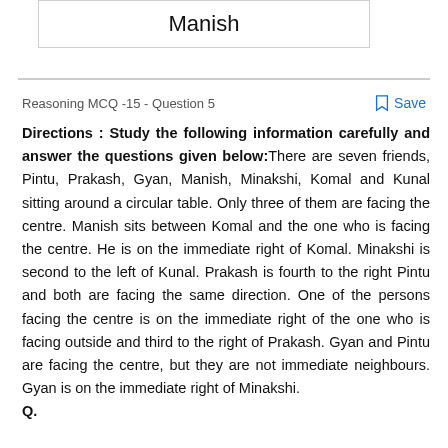Manish
Reasoning MCQ -15 - Question 5
Directions : Study the following information carefully and answer the questions given below:There are seven friends, Pintu, Prakash, Gyan, Manish, Minakshi, Komal and Kunal sitting around a circular table. Only three of them are facing the centre. Manish sits between Komal and the one who is facing the centre. He is on the immediate right of Komal. Minakshi is second to the left of Kunal. Prakash is fourth to the right Pintu and both are facing the same direction. One of the persons facing the centre is on the immediate right of the one who is facing outside and third to the right of Prakash. Gyan and Pintu are facing the centre, but they are not immediate neighbours. Gyan is on the immediate right of Minakshi.
Q.